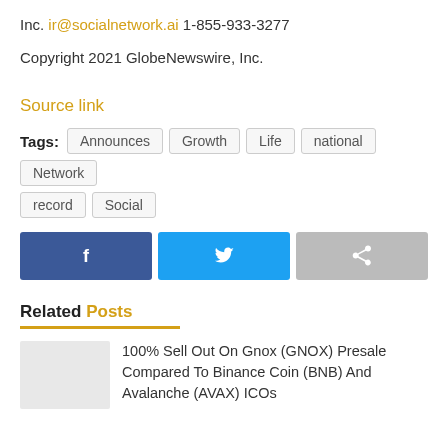Inc. ir@socialnetwork.ai 1-855-933-3277
Copyright 2021 GlobeNewswire, Inc.
Source link
Tags: Announces Growth Life national Network record Social
[Figure (other): Social share buttons: Facebook, Twitter, Share]
Related Posts
100% Sell Out On Gnox (GNOX) Presale Compared To Binance Coin (BNB) And Avalanche (AVAX) ICOs